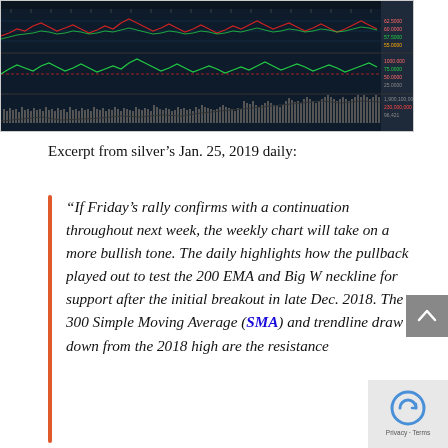[Figure (screenshot): Trading chart screenshot showing silver price with multiple technical indicators: price line chart with moving averages (red and green lines) in the top panel, a secondary oscillator panel in the middle with red baseline and green/red lines, and a volume bar chart in the bottom panel. Chart spans multiple years with date labels along the top axis.]
Excerpt from silver’s Jan. 25, 2019 daily:
“If Friday’s rally confirms with a continuation throughout next week, the weekly chart will take on a more bullish tone. The daily highlights how the pullback played out to test the 200 EMA and Big W neckline for support after the initial breakout in late Dec. 2018. The 300 Simple Moving Average (SMA) and trendline drawn down from the 2018 high are the resistance